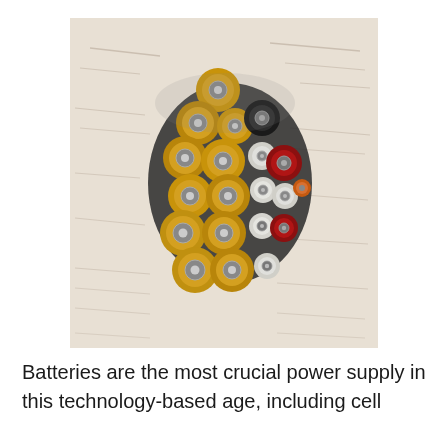[Figure (photo): Close-up overhead view of multiple AA batteries bundled together, showing their positive terminal ends. The batteries have yellow/gold, black, red, and white colored wrappers. The background is a light-colored surface with text/writing visible.]
Batteries are the most crucial power supply in this technology-based age, including cell